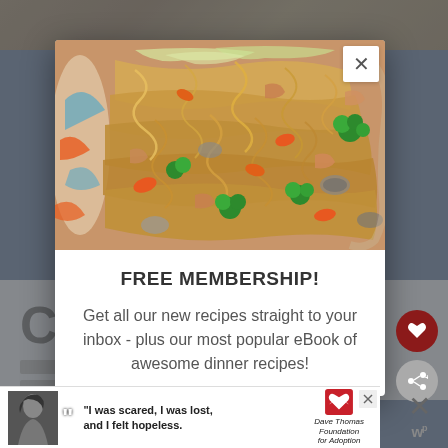[Figure (photo): Close-up food photo of stir-fried noodles with chicken, broccoli, carrots, mushrooms, and cabbage in a decorative bowl, shown inside a modal popup]
FREE MEMBERSHIP!
Get all our new recipes straight to your inbox - plus our most popular eBook of awesome dinner recipes!
[Figure (screenshot): Bottom advertisement banner: black and white photo of a woman with quote 'I was scared, I was lost, and I felt hopeless.' with Dave Thomas Foundation for Adoption logo]